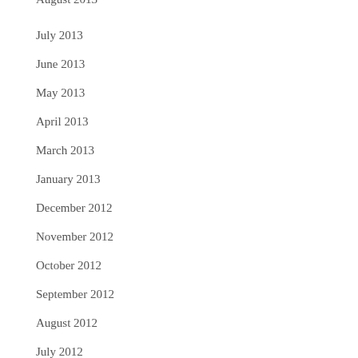August 2013
July 2013
June 2013
May 2013
April 2013
March 2013
January 2013
December 2012
November 2012
October 2012
September 2012
August 2012
July 2012
June 2012
January 2012